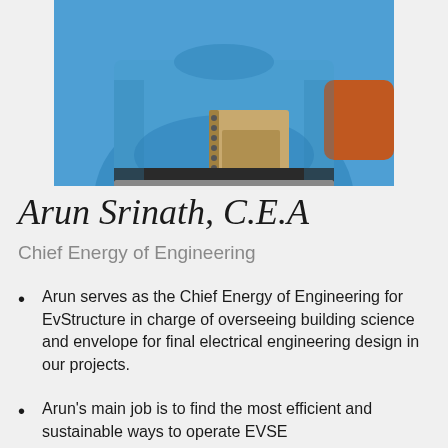[Figure (photo): Photo of Arun Srinath from chest down, wearing a blue shirt and holding a notebook/folder, with an orange sleeve visible on the right]
Arun Srinath, C.E.A
Chief Energy of Engineering
Arun serves as the Chief Energy of Engineering for EvStructure in charge of overseeing building science and envelope for final electrical engineering design in our projects.
Arun's main job is to find the most efficient and sustainable ways to operate EVSE